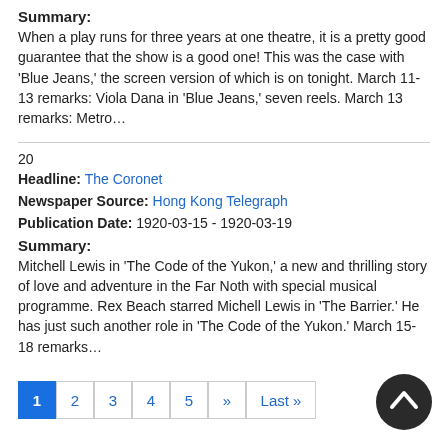Summary:
When a play runs for three years at one theatre, it is a pretty good guarantee that the show is a good one! This was the case with 'Blue Jeans,' the screen version of which is on tonight. March 11-13 remarks: Viola Dana in 'Blue Jeans,' seven reels. March 13 remarks: Metro…
20
Headline: The Coronet
Newspaper Source: Hong Kong Telegraph
Publication Date: 1920-03-15 - 1920-03-19
Summary:
Mitchell Lewis in 'The Code of the Yukon,' a new and thrilling story of love and adventure in the Far Noth with special musical programme. Rex Beach starred Michell Lewis in 'The Barrier.' He has just such another role in 'The Code of the Yukon.' March 15-18 remarks…
1 2 3 4 5 » Last »